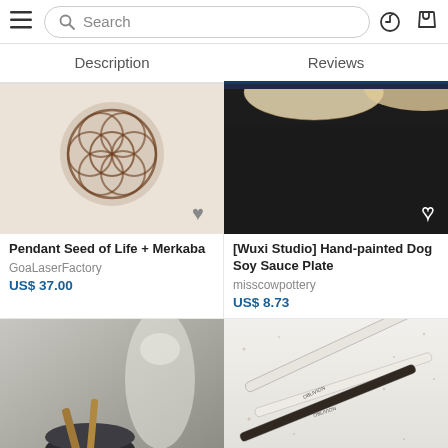Search  Description  Reviews
[Figure (photo): Wooden pendant with Seed of Life and Merkaba design on white background]
Pendant Seed of Life + Merkaba
GoaLaserFactory
US$ 37.00
[Figure (photo): Hand-painted dog soy sauce plate on dark background with tortillas visible at top]
[Wuxi Studio] Hand-painted Dog Soy Sauce Plate
misscowpottery
US$ 8.73
[Figure (photo): Black mortar and pestle with wooden sticks on neutral background]
[Figure (photo): OBLIVION branded pens/pencils on speckled white surface]